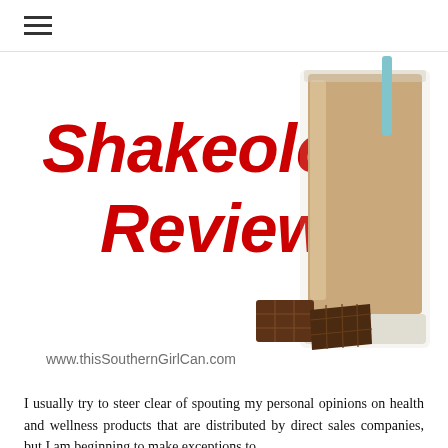≡
[Figure (photo): Hero image for a Shakeology Review blog post. Large bold red text reads 'Shakeology Review' on the left side. On the right is a tall glass filled with a chocolate milkshake/protein shake. In the foreground are pieces of dark chocolate. At the bottom left is a watermark: www.thisSouthernGirlCan.com]
I usually try to steer clear of spouting my personal opinions on health and wellness products that are distributed by direct sales companies, but I am beginning to make exceptions to